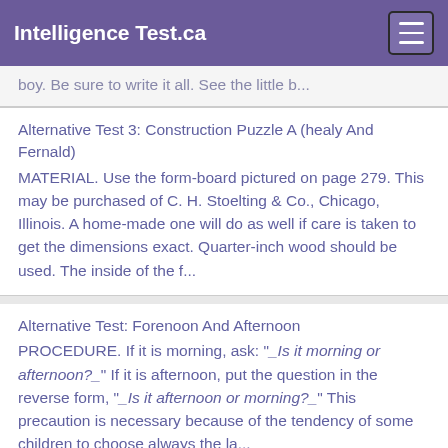Intelligence Test.ca
boy. Be sure to write it all. See the little b...
Alternative Test 3: Construction Puzzle A (healy And Fernald)
MATERIAL. Use the form-board pictured on page 279. This may be purchased of C. H. Stoelting & Co., Chicago, Illinois. A home-made one will do as well if care is taken to get the dimensions exact. Quarter-inch wood should be used. The inside of the f...
Alternative Test: Forenoon And Afternoon
PROCEDURE. If it is morning, ask: "_Is it morning or afternoon?_" If it is afternoon, put the question in the reverse form, "_Is it afternoon or morning?_" This precaution is necessary because of the tendency of some children to choose always the la...